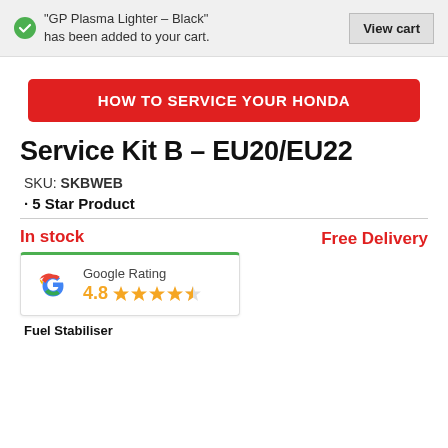"GP Plasma Lighter – Black" has been added to your cart.
View cart
HOW TO SERVICE YOUR HONDA
Service Kit B – EU20/EU22
SKU: SKBWEB
5 Star Product
In stock
Free Delivery
[Figure (logo): Google Rating widget showing Google G logo, rating label 'Google Rating', score 4.8 with 4.5 stars out of 5]
Fuel Stabiliser